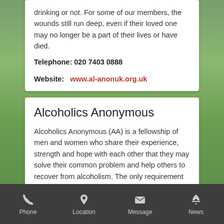drinking or not. For some of our members, the wounds still run deep, even if their loved one may no longer be a part of their lives or have died.
Telephone: 020 7403 0888
Website:   www.al-anonuk.org.uk
Alcoholics Anonymous
Alcoholics Anonymous (AA) is a fellowship of men and women who share their experience, strength and hope with each other that they may solve their common problem and help others to recover from alcoholism. The only requirement for membership is a desire to stop drinking.
Telephone: 0800 917 7650
Phone  Location  Message  News